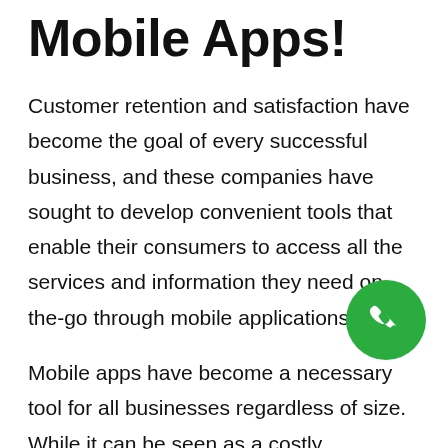Mobile Apps!
Customer retention and satisfaction have become the goal of every successful business, and these companies have sought to develop convenient tools that enable their consumers to access all the services and information they need on-the-go through mobile applications.
Mobile apps have become a necessary tool for all businesses regardless of size. While it can be seen as a costly investment, it helps br... engage with their customers, collect re... data, create consumer satisfaction, improve customer loyalty, drive sales, and raise investment returns.
[Figure (illustration): Green circular phone/call button icon in the bottom-right area of the page]